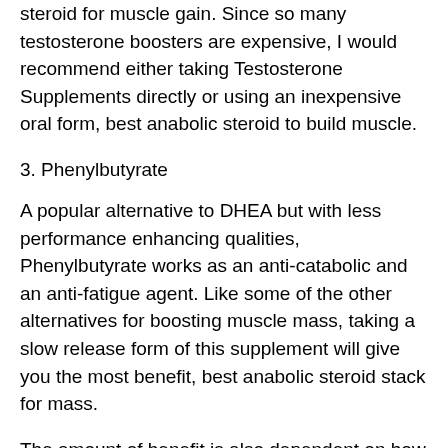steroid for muscle gain. Since so many testosterone boosters are expensive, I would recommend either taking Testosterone Supplements directly or using an inexpensive oral form, best anabolic steroid to build muscle.
3. Phenylbutyrate
A popular alternative to DHEA but with less performance enhancing qualities, Phenylbutyrate works as an anti-catabolic and an anti-fatigue agent. Like some of the other alternatives for boosting muscle mass, taking a slow release form of this supplement will give you the most benefit, best anabolic steroid stack for mass.
The amount of benefit is also dependent on how much you want to work with; Phenylbutyrate is a powerful fat burner, but